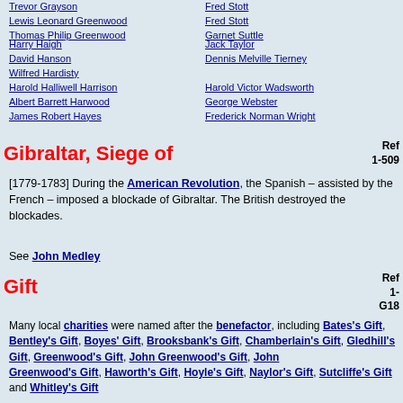Trevor Grayson
Lewis Leonard Greenwood
Thomas Philip Greenwood
Fred Stott
Fred Stott
Garnet Suttle
Harry Haigh
David Hanson
Wilfred Hardisty
Harold Halliwell Harrison
Albert Barrett Harwood
James Robert Hayes
Jack Taylor
Dennis Melville Tierney
Harold Victor Wadsworth
George Webster
Frederick Norman Wright
Gibraltar, Siege of
Ref 1-509
[1779-1783] During the American Revolution, the Spanish – assisted by the French – imposed a blockade of Gibraltar. The British destroyed the blockades.
See John Medley
Gift
Ref 1-G18
Many local charities were named after the benefactor, including Bates's Gift, Bentley's Gift, Boyes' Gift, Brooksbank's Gift, Chamberlain's Gift, Gledhill's Gift, Greenwood's Gift, John Greenwood's Gift, John Greenwood's Gift, Haworth's Gift, Hoyle's Gift, Naylor's Gift, Sutcliffe's Gift and Whitley's Gift